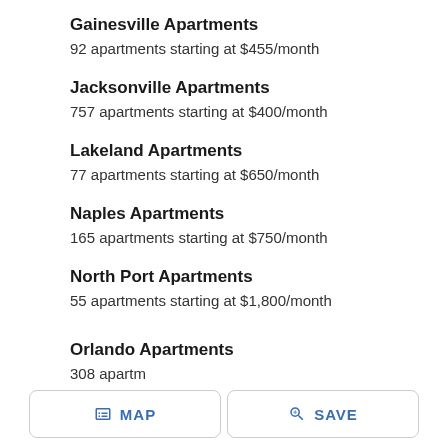Gainesville Apartments
92 apartments starting at $455/month
Jacksonville Apartments
757 apartments starting at $400/month
Lakeland Apartments
77 apartments starting at $650/month
Naples Apartments
165 apartments starting at $750/month
North Port Apartments
55 apartments starting at $1,800/month
Ocala Apartments
24 apartments starting at $728/month
Orlando Apartments
308 apartments starting at ...